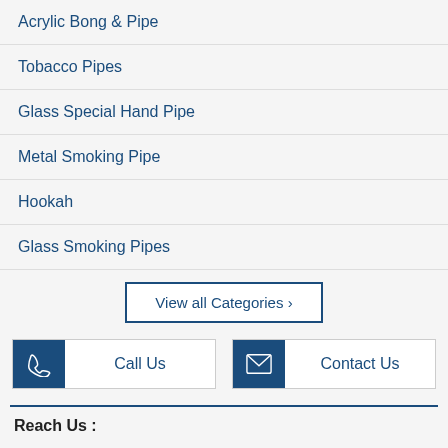Acrylic Bong & Pipe
Tobacco Pipes
Glass Special Hand Pipe
Metal Smoking Pipe
Hookah
Glass Smoking Pipes
View all Categories ›
Call Us
Contact Us
Reach Us :